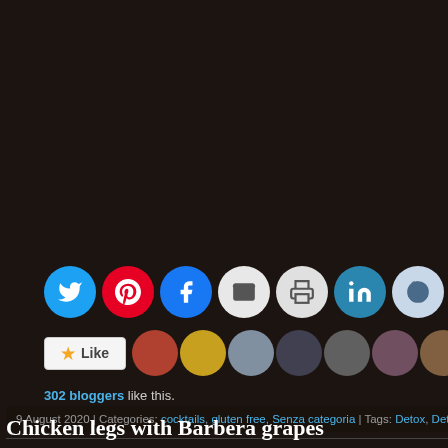[Figure (screenshot): Dark textured background with social sharing icon row (Twitter, Pinterest, Facebook, Email, Print, LinkedIn, Reddit, Tumblr, Pocket), a Like button with star icon followed by a strip of blogger avatar thumbnails, a bloggers count line '302 bloggers like this.', a metadata row showing date, categories, and tags, and partial title text at bottom.]
302 bloggers like this.
9 August 2020 | Categories: cocktails, gluten free, Senza categoria | Tags: Detox, Detox smoot
Chicken legs with Barbera grapes